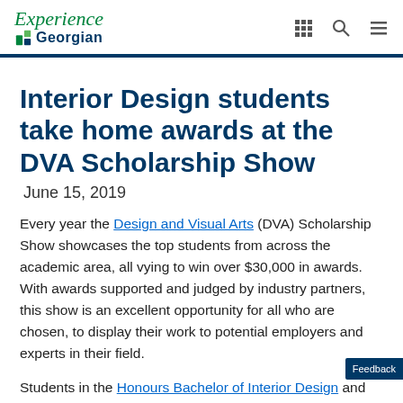Experience Georgian
Interior Design students take home awards at the DVA Scholarship Show
June 15, 2019
Every year the Design and Visual Arts (DVA) Scholarship Show showcases the top students from across the academic area, all vying to win over $30,000 in awards. With awards supported and judged by industry partners, this show is an excellent opportunity for all who are chosen, to display their work to potential employers and experts in their field.
Students in the Honours Bachelor of Interior Design and Interior Decorating Diploma did not disappoint this year,